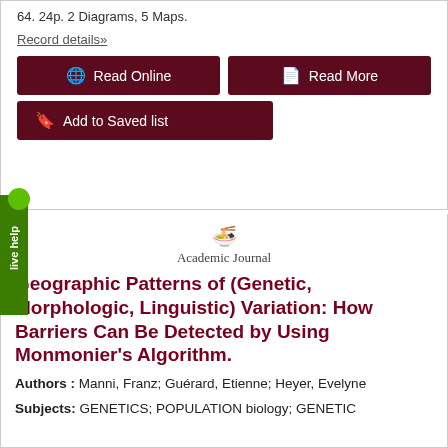64. 24p. 2 Diagrams, 5 Maps.
Record details»
Read Online
Read More
Add to Saved list
Academic Journal
Geographic Patterns of (Genetic, Morphologic, Linguistic) Variation: How Barriers Can Be Detected by Using Monmonier's Algorithm.
Authors : Manni, Franz; Guérard, Etienne; Heyer, Evelyne
Subjects: GENETICS; POPULATION biology; GENETIC